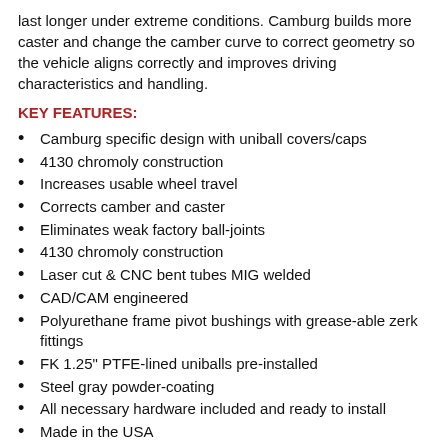last longer under extreme conditions. Camburg builds more caster and change the camber curve to correct geometry so the vehicle aligns correctly and improves driving characteristics and handling.
KEY FEATURES:
Camburg specific design with uniball covers/caps
4130 chromoly construction
Increases usable wheel travel
Corrects camber and caster
Eliminates weak factory ball-joints
4130 chromoly construction
Laser cut & CNC bent tubes MIG welded
CAD/CAM engineered
Polyurethane frame pivot bushings with grease-able zerk fittings
FK 1.25" PTFE-lined uniballs pre-installed
Steel gray powder-coating
All necessary hardware included and ready to install
Made in the USA
Designed for 1-3" of lift